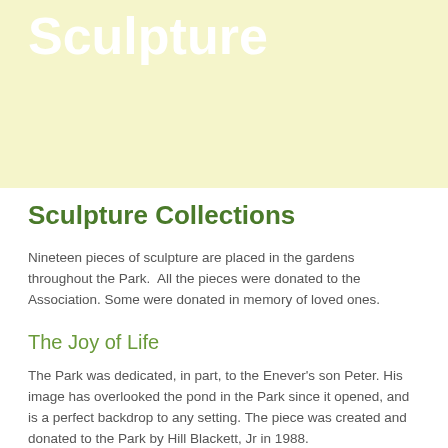Sculpture
Sculpture Collections
Nineteen pieces of sculpture are placed in the gardens throughout the Park.  All the pieces were donated to the Association. Some were donated in memory of loved ones.
The Joy of Life
The Park was dedicated, in part, to the Enever's son Peter. His image has overlooked the pond in the Park since it opened, and is a perfect backdrop to any setting. The piece was created and donated to the Park by Hill Blackett, Jr in 1988.